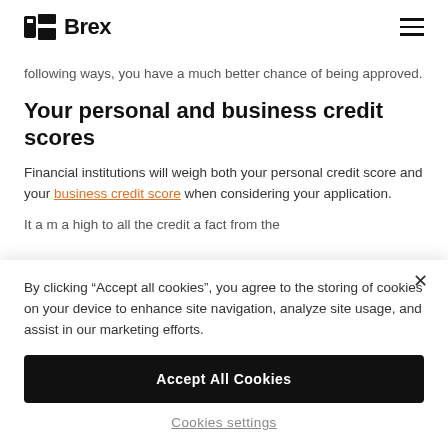Brex
following ways, you have a much better chance of being approved.
Your personal and business credit scores
Financial institutions will weigh both your personal credit score and your business credit score when considering your application.
It a m a high to all the credit a fact from the
By clicking “Accept all cookies”, you agree to the storing of cookies on your device to enhance site navigation, analyze site usage, and assist in our marketing efforts.
Accept All Cookies
Cookies settings